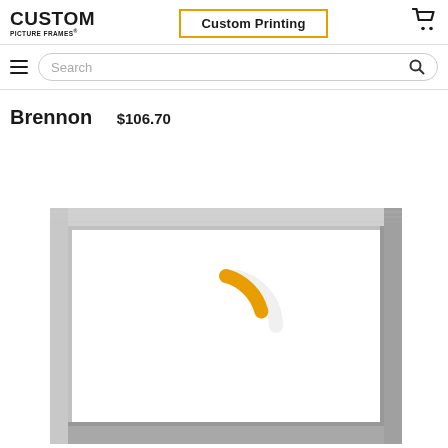CUSTOM PICTURE FRAMES | Custom Printing | Cart
Search
Brennon
$106.70
[Figure (photo): Silver picture frame with white interior and a loading spinner (orange and white arc) visible inside the frame area]